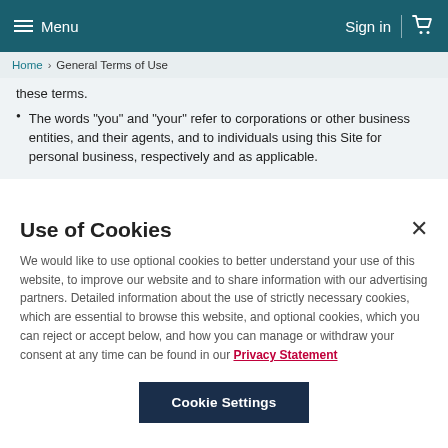Menu   Sign in
Home > General Terms of Use
these terms.
The words "you" and "your" refer to corporations or other business entities, and their agents, and to individuals using this Site for personal business, respectively and as applicable.
Use of Cookies
We would like to use optional cookies to better understand your use of this website, to improve our website and to share information with our advertising partners. Detailed information about the use of strictly necessary cookies, which are essential to browse this website, and optional cookies, which you can reject or accept below, and how you can manage or withdraw your consent at any time can be found in our Privacy Statement